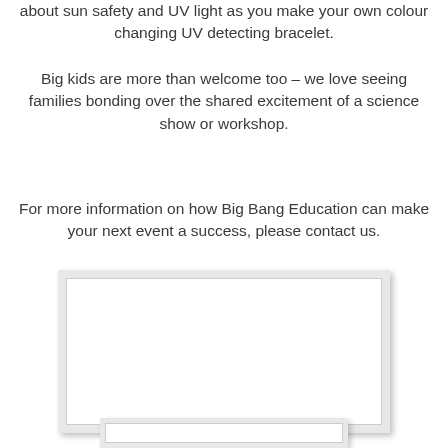about sun safety and UV light as you make your own colour changing UV detecting bracelet.
Big kids are more than welcome too – we love seeing families bonding over the shared excitement of a science show or workshop.
For more information on how Big Bang Education can make your next event a success, please contact us.
[Figure (photo): Large rectangular image placeholder with white interior and light border, shadow visible]
[Figure (photo): Small rectangular image placeholder partially visible at bottom of page]